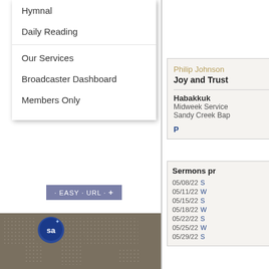Hymnal
Daily Reading
Our Services
Broadcaster Dashboard
Members Only
[Figure (map): World map with dotted pattern and blue location pin marker with 'sa' logo]
Habakkuk | rss
Joy and Trust -
Philip Johnson
Joy and Trust
Habakkuk
Midweek Service
Sandy Creek Bap
Sermons pr
05/08/22  S
05/11/22  W
05/15/22  S
05/18/22  W
05/22/22  S
05/25/22  W
05/29/22  S